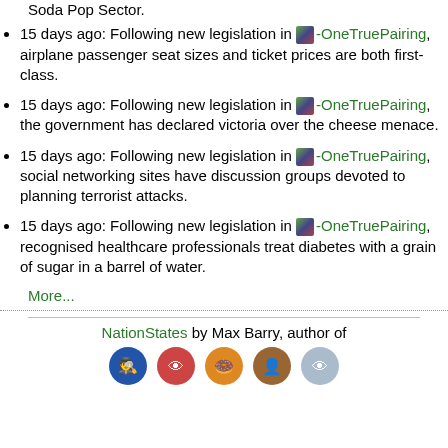Soda Pop Sector.
15 days ago: Following new legislation in -OneTruePairing, airplane passenger seat sizes and ticket prices are both first-class.
15 days ago: Following new legislation in -OneTruePairing, the government has declared victoria over the cheese menace.
15 days ago: Following new legislation in -OneTruePairing, social networking sites have discussion groups devoted to planning terrorist attacks.
15 days ago: Following new legislation in -OneTruePairing, recognised healthcare professionals treat diabetes with a grain of sugar in a barrel of water.
More...
NationStates by Max Barry, author of